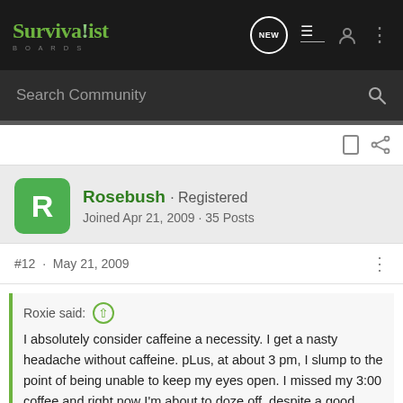Survivalist BOARDS
Search Community
Rosebush · Registered
Joined Apr 21, 2009 · 35 Posts
#12 · May 21, 2009
Roxie said:
I absolutely consider caffeine a necessity. I get a nasty headache without caffeine. pLus, at about 3 pm, I slump to the point of being unable to keep my eyes open. I missed my 3:00 coffee and right now I'm about to doze off, despite a good night's sleep last night. I have a pot of
[Figure (screenshot): Advertisement banner for Sharp Edge brand showing a metal part and text EXCEPTIONAL DESIGNS. EXCEPTIONAL CRAFTSMANSHIP.]